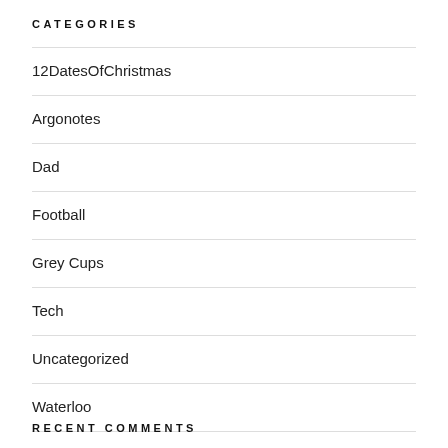CATEGORIES
12DatesOfChristmas
Argonotes
Dad
Football
Grey Cups
Tech
Uncategorized
Waterloo
RECENT COMMENTS